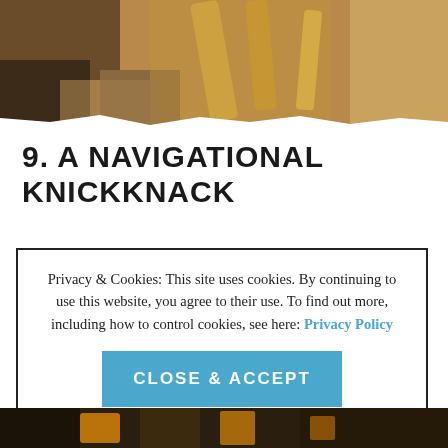[Figure (photo): Top portion showing various spices and wooden sticks (cinnamon) on a textured surface with warm brown tones]
9. A NAVIGATIONAL KNICKKNACK
Privacy & Cookies: This site uses cookies. By continuing to use this website, you agree to their use. To find out more, including how to control cookies, see here: Privacy Policy
CLOSE & ACCEPT
[Figure (photo): Bottom strip showing dark background with orange and brown tones, appears to be a cropped image of spices or similar items]